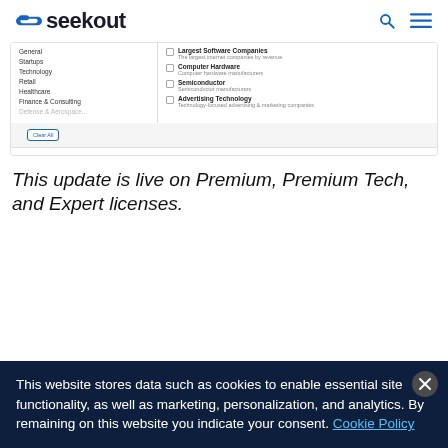[Figure (screenshot): SeekOut website header with logo, search icon, and hamburger menu icon]
[Figure (screenshot): SeekOut Power Filter UI showing left panel with categories (General, Startups, Technology, Retail, Healthcare, Finance & Consulting) and right panel with filter options (Largest Software Companies, Computer Hardware, Semiconductor, Advertising Technology) with checkboxes. Clear All button at bottom of left panel. Bottom bar: 'Is there a Power Filter you want us to create? Let us know' with Cancel and Done buttons.]
This update is live on Premium, Premium Tech, and Expert licenses.
This website stores data such as cookies to enable essential site functionality, as well as marketing, personalization, and analytics. By remaining on this website you indicate your consent. Cookie Policy